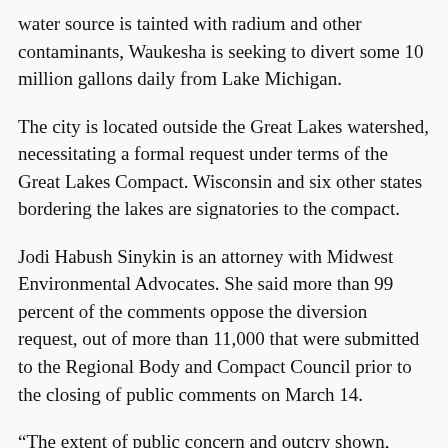water source is tainted with radium and other contaminants, Waukesha is seeking to divert some 10 million gallons daily from Lake Michigan.
The city is located outside the Great Lakes watershed, necessitating a formal request under terms of the Great Lakes Compact. Wisconsin and six other states bordering the lakes are signatories to the compact.
Jodi Habush Sinykin is an attorney with Midwest Environmental Advocates. She said more than 99 percent of the comments oppose the diversion request, out of more than 11,000 that were submitted to the Regional Body and Compact Council prior to the closing of public comments on March 14.
“The extent of public concern and outcry shown, speaks to how important this first-of-its-kind regional